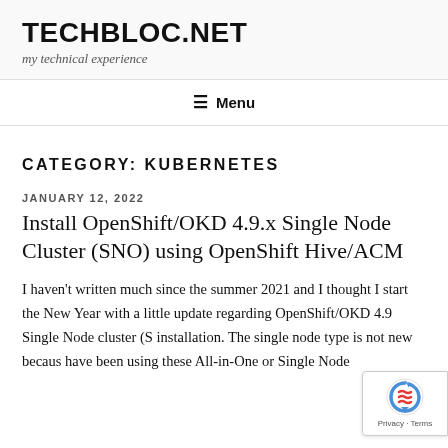TECHBLOC.NET
my technical experience
Menu
CATEGORY: KUBERNETES
JANUARY 12, 2022
Install OpenShift/OKD 4.9.x Single Node Cluster (SNO) using OpenShift Hive/ACM
I haven't written much since the summer 2021 and I thought I start the New Year with a little update regarding OpenShift/OKD 4.9 Single Node cluster (S installation. The single node type is not new becaus have been using these All-in-One or Single Node